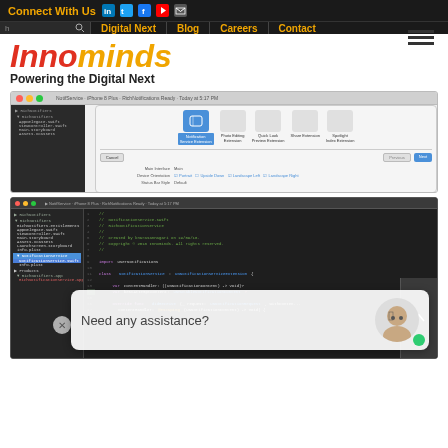Connect With Us | Digital Next | Blog | Careers | Contact
[Figure (logo): Innominds logo with tagline 'Powering the Digital Next']
[Figure (screenshot): Xcode new target template selection dialog showing Notification Service Extension, Photo Editing Extension, Quick Look Preview Extension, Share Extension, Spotlight Index Extension options]
[Figure (screenshot): Xcode IDE showing NotificationService.swift code file with Swift code for RichNotificationService class including contentHandler and bestAttemptContent vars, with chat bubble overlay saying 'Need any assistance?']